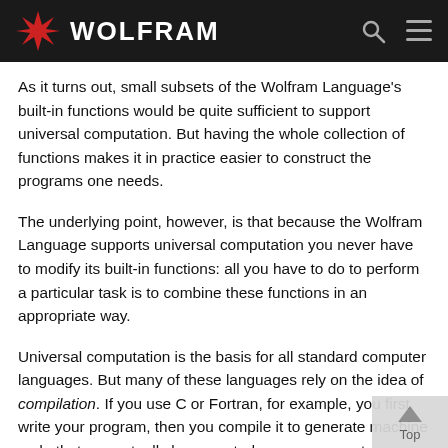WOLFRAM
As it turns out, small subsets of the Wolfram Language's built-in functions would be quite sufficient to support universal computation. But having the whole collection of functions makes it in practice easier to construct the programs one needs.
The underlying point, however, is that because the Wolfram Language supports universal computation you never have to modify its built-in functions: all you have to do to perform a particular task is to combine these functions in an appropriate way.
Universal computation is the basis for all standard computer languages. But many of these languages rely on the idea of compilation. If you use C or Fortran, for example, you first write your program, then you compile it to generate machine code that can actually be executed on your computer.
The Wolfram Language does not require you to go through the compilation step: once you have input an expression, the functions in the expression can immediately be executed.